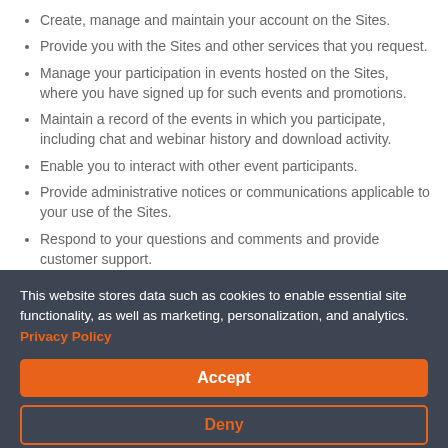Create, manage and maintain your account on the Sites.
Provide you with the Sites and other services that you request.
Manage your participation in events hosted on the Sites, where you have signed up for such events and promotions.
Maintain a record of the events in which you participate, including chat and webinar history and download activity.
Enable you to interact with other event participants.
Provide administrative notices or communications applicable to your use of the Sites.
Respond to your questions and comments and provide customer support.
This website stores data such as cookies to enable essential site functionality, as well as marketing, personalization, and analytics. Privacy Policy
Accept
Deny